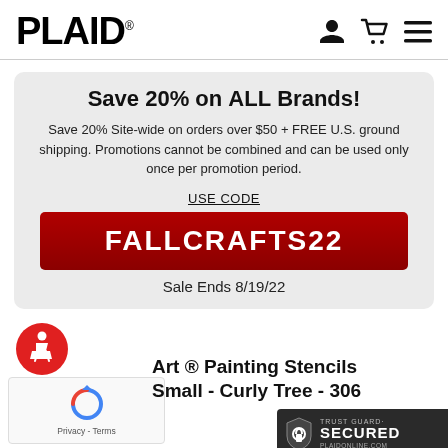PLAID
Save 20% on ALL Brands!
Save 20% Site-wide on orders over $50 + FREE U.S. ground shipping. Promotions cannot be combined and can be used only once per promotion period.
USE CODE
FALLCRAFTS22
Sale Ends 8/19/22
[Figure (other): Red circular accessibility icon with white wheelchair symbol]
[Figure (other): reCAPTCHA widget with arrows icon and Privacy - Terms text]
Art ® Painting Stencils Small - Curly Tree - 306
[Figure (other): Trust Guard Secured badge with padlock icon and PLAIDONLINE.COM URL]